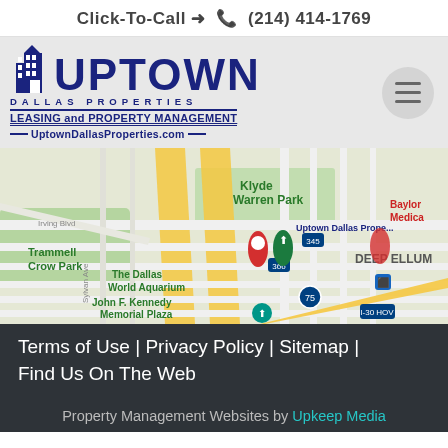Click-To-Call → 📞 (214) 414-1769
[Figure (logo): Uptown Dallas Properties logo with building icon, UPTOWN large text, DALLAS PROPERTIES, LEASING and PROPERTY MANAGEMENT, UptownDallasProperties.com]
[Figure (map): Google Maps showing Uptown Dallas Properties location, with landmarks: Trammell Crow Park, Klyde Warren Park, The Dallas World Aquarium, John F. Kennedy Memorial Plaza, Deep Ellum, Baylor Medical. Roads include Irving Blvd, highways 345, 366, 75, I-30 HOV.]
Terms of Use | Privacy Policy | Sitemap |
Find Us On The Web
Property Management Websites by Upkeep Media